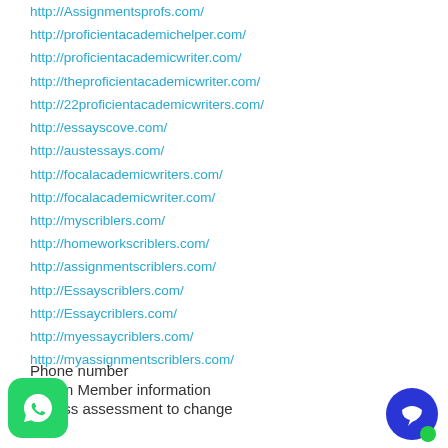http://Assignmentsprofs.com/
http://proficientacademichelper.com/
http://proficientacademicwriter.com/
http://theproficientacademicwriter.com/
http://22proficientacademicwriters.com/
http://essayscove.com/
http://austessays.com/
http://focalacademicwriters.com/
http://focalacademicwriter.com/
http://myscriblers.com/
http://homeworkscriblers.com/
http://assignmentscriblers.com/
http://Essayscriblers.com/
http://Essaycriblers.com/
http://myessaycriblers.com/
http://myassignmentscriblers.com/
Phone number
y Gym Member information
Fitness assessment to change